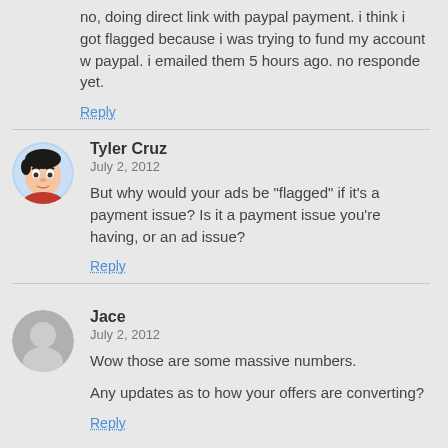no, doing direct link with paypal payment. i think i got flagged because i was trying to fund my account w paypal. i emailed them 5 hours ago. no responde yet.
Reply
Tyler Cruz
July 2, 2012
But why would your ads be "flagged" if it's a payment issue? Is it a payment issue you're having, or an ad issue?
Reply
Jace
July 2, 2012
Wow those are some massive numbers.
Any updates as to how your offers are converting?
Reply